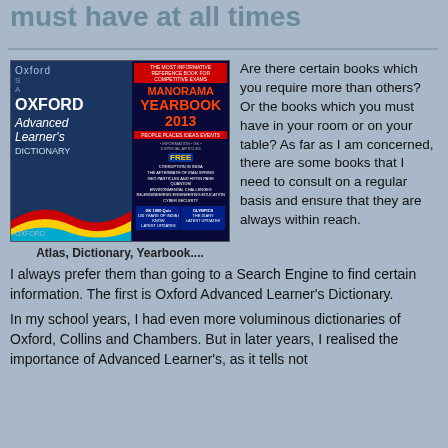must have at all times
[Figure (photo): Photo of Oxford Advanced Learner's Dictionary and Manorama Yearbook 2013 books side by side]
Atlas, Dictionary, Yearbook....
Are there certain books which you require more than others? Or the books which you must have in your room or on your table? As far as I am concerned, there are some books that I need to consult on a regular basis and ensure that they are always within reach.
I always prefer them than going to a Search Engine to find certain information. The first is Oxford Advanced Learner's Dictionary.
In my school years, I had even more voluminous dictionaries of Oxford, Collins and Chambers. But in later years, I realised the importance of Advanced Learner's, as it tells not